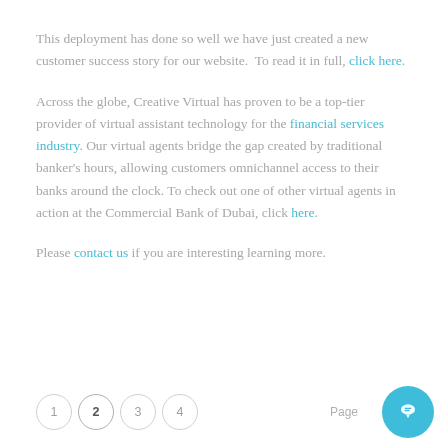This deployment has done so well we have just created a new customer success story for our website.  To read it in full, click here.
Across the globe, Creative Virtual has proven to be a top-tier provider of virtual assistant technology for the financial services industry. Our virtual agents bridge the gap created by traditional banker's hours, allowing customers omnichannel access to their banks around the clock. To check out one of other virtual agents in action at the Commercial Bank of Dubai, click here.
Please contact us if you are interesting learning more.
1  2  3  4   Page